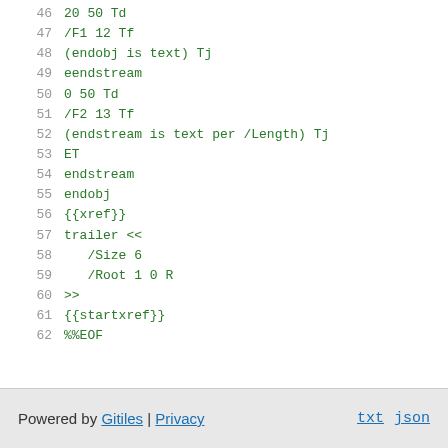46  20 50 Td
47  /F1 12 Tf
48  (endobj is text) Tj
49  eendstream
50  0 50 Td
51  /F2 13 Tf
52  (endstream is text per /Length) Tj
53  ET
54  endstream
55  endobj
56  {{xref}}
57  trailer <<
58      /Size 6
59      /Root 1 0 R
60  >>
61  {{startxref}}
62  %%EOF
Powered by Gitiles | Privacy    txt  json